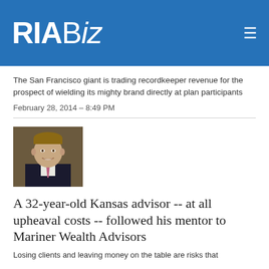RIABiz
The San Francisco giant is trading recordkeeper revenue for the prospect of wielding its mighty brand directly at plan participants
February 28, 2014 – 8:49 PM
[Figure (photo): Headshot photo of a young man in a dark suit with a pink tie, smiling, against a dark background]
A 32-year-old Kansas advisor -- at all upheaval costs -- followed his mentor to Mariner Wealth Advisors
Losing clients and leaving money on the table are risks that